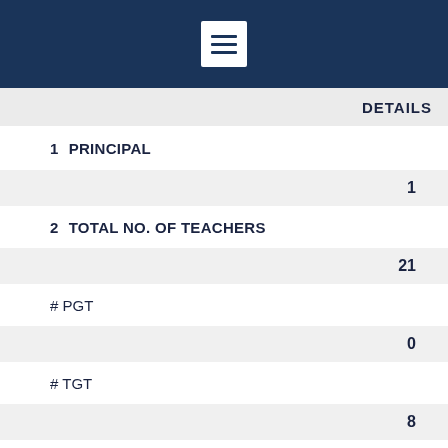DETAILS
1  PRINCIPAL
1
2  TOTAL NO. OF TEACHERS
21
# PGT
0
# TGT
8
# PRT